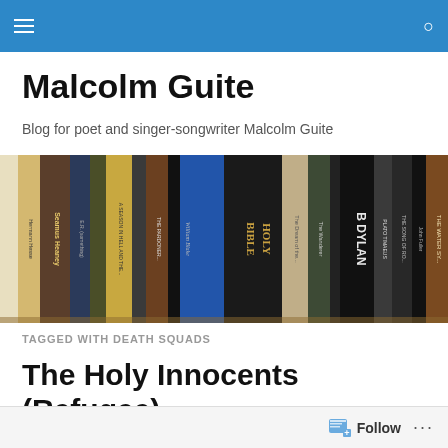Malcolm Guite — navigation bar with hamburger menu and search icon
Malcolm Guite
Blog for poet and singer-songwriter Malcolm Guite
[Figure (photo): Row of book spines on a shelf including Seamus Heaney, Holy Bible, B Dylan, The Wanderer, Plato Timaeus, The Water S., and other titles.]
TAGGED WITH DEATH SQUADS
The Holy Innocents (Refugee)
Follow  ...